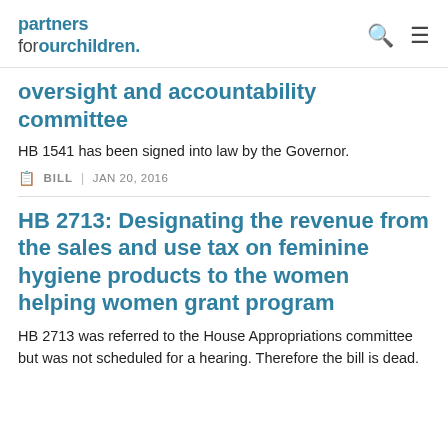partners forourchildren
oversight and accountability committee
HB 1541 has been signed into law by the Governor.
BILL | JAN 20, 2016
HB 2713: Designating the revenue from the sales and use tax on feminine hygiene products to the women helping women grant program
HB 2713 was referred to the House Appropriations committee but was not scheduled for a hearing. Therefore the bill is dead.